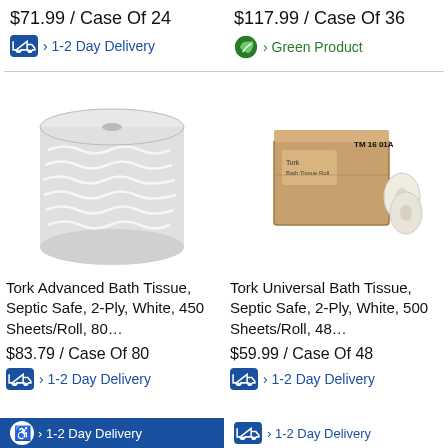$71.99 / Case Of 24
$117.99 / Case Of 36
› 1-2 Day Delivery
› Green Product
[Figure (photo): Tork large paper roll of bath tissue, white, cylindrical shape with wave pattern]
[Figure (photo): Tork Universal Bath Tissue cardboard case box labeled TM 1601A with two toilet paper rolls beside it]
Tork Advanced Bath Tissue, Septic Safe, 2-Ply, White, 450 Sheets/Roll, 80…
Tork Universal Bath Tissue, Septic Safe, 2-Ply, White, 500 Sheets/Roll, 48…
$83.79 / Case Of 80
$59.99 / Case Of 48
› 1-2 Day Delivery
› 1-2 Day Delivery